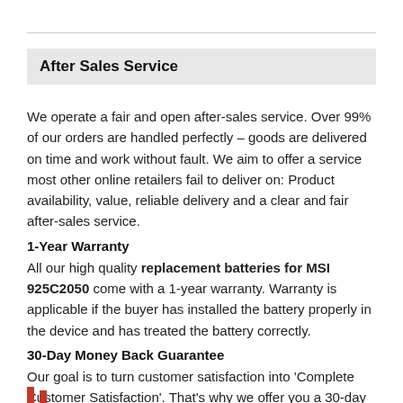After Sales Service
We operate a fair and open after-sales service. Over 99% of our orders are handled perfectly – goods are delivered on time and work without fault. We aim to offer a service most other online retailers fail to deliver on: Product availability, value, reliable delivery and a clear and fair after-sales service.
1-Year Warranty
All our high quality replacement batteries for MSI 925C2050 come with a 1-year warranty. Warranty is applicable if the buyer has installed the battery properly in the device and has treated the battery correctly.
30-Day Money Back Guarantee
Our goal is to turn customer satisfaction into 'Complete Customer Satisfaction'. That's why we offer you a 30-day money back guarantee, on top of our warranty and RMA procedure for defects! Please note: in order to qualify to get your money back, you must first contact us and await instructions before sending back your product.